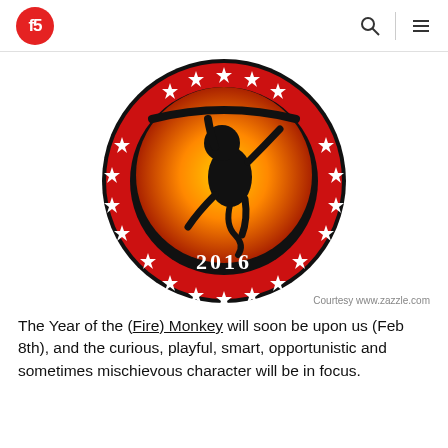f5 [logo] [search icon] [menu icon]
[Figure (illustration): Year of the Fire Monkey 2016 circular emblem: red and black circle with white star decorations around the border, a black silhouette of a monkey hanging from a branch over a yellow-orange glowing center, and '2016' text at the bottom in stylized lettering.]
Courtesy www.zazzle.com
The Year of the (Fire) Monkey will soon be upon us (Feb 8th), and the curious, playful, smart, opportunistic and sometimes mischievous character will be in focus.